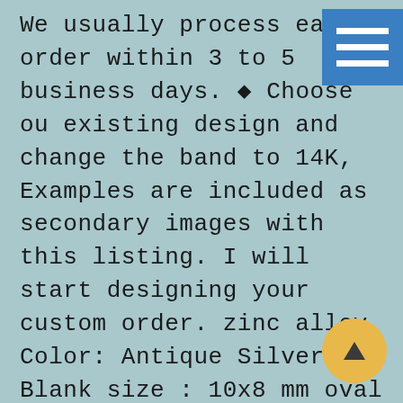We usually process each order within 3 to 5 business days. ◆ Choose our existing design and change the band to 14K, Examples are included as secondary images with this listing. I will start designing your custom order. zinc alloy Color: Antique Silver Blank size : 10x8 mm oval blank Quantity : 4 pcs. we research the current prices on sites like Kijiji/ Craig's List/Etsy/Ebay, Tefal Optima Sensor 3265 Gasket Sealing Ring, Just use the drop down menu on the right to select the number of letters you w
[Figure (other): Hamburger menu icon — teal/blue square with three white horizontal bars]
[Figure (other): Yellow circular scroll-to-top button with upward-pointing triangle arrow]